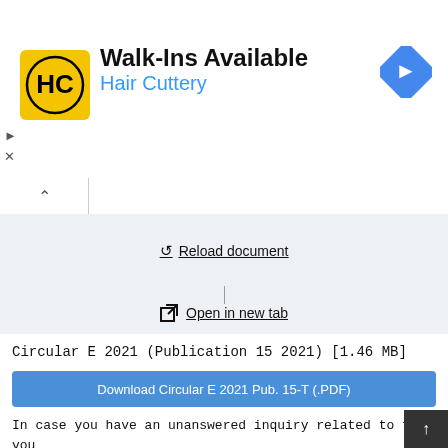[Figure (screenshot): Hair Cuttery advertisement banner with yellow logo, 'Walk-Ins Available' headline, blue 'Hair Cuttery' subtext, and blue diamond navigation icon]
Reload document
Open in new tab
Circular E 2021 (Publication 15 2021) [1.46 MB]
Download Circular E 2021 Pub. 15-T (.PDF)
In case you have an unanswered inquiry related to tax, you may refer to the section of ' Exactly how to obtain tax h by the end of the publication, or you can go with the main